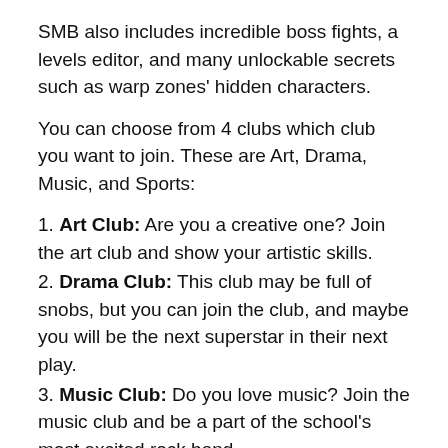SMB also includes incredible boss fights, a levels editor, and many unlockable secrets such as warp zones' hidden characters.
You can choose from 4 clubs which club you want to join. These are Art, Drama, Music, and Sports:
1. Art Club: Are you a creative one? Join the art club and show your artistic skills.
2. Drama Club: This club may be full of snobs, but you can join the club, and maybe you will be the next superstar in their next play.
3. Music Club: Do you love music? Join the music club and be a part of the school's most excited rock band.
4. Sports Club: Join the club as an ultimate warrior and complete different sporting